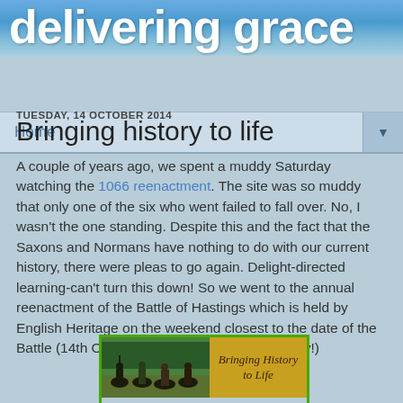delivering grace
Home
TUESDAY, 14 OCTOBER 2014
Bringing history to life
A couple of years ago, we spent a muddy Saturday watching the 1066 reenactment. The site was so muddy that only one of the six who went failed to fall over. No, I wasn't the one standing. Despite this and the fact that the Saxons and Normans have nothing to do with our current history, there were pleas to go again. Delight-directed learning-can't turn this down! So we went to the annual reenactment of the Battle of Hastings which is held by English Heritage on the weekend closest to the date of the Battle (14th October 1066- 948 years ago today!)
[Figure (photo): Left half: photo of medieval reenactors on horseback in a green field with trees in background. Right half: golden textured background with cursive text reading 'Bringing History to Life']